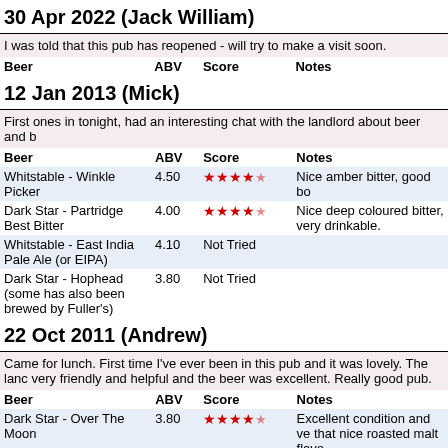30 Apr 2022 (Jack William)
I was told that this pub has reopened - will try to make a visit soon.
| Beer | ABV | Score | Notes |
| --- | --- | --- | --- |
12 Jan 2013 (Mick)
First ones in tonight, had an interesting chat with the landlord about beer and b
| Beer | ABV | Score | Notes |
| --- | --- | --- | --- |
| Whitstable - Winkle Picker | 4.50 | ★★★★☆ | Nice amber bitter, good bo |
| Dark Star - Partridge Best Bitter | 4.00 | ★★★★☆ | Nice deep coloured bitter, very drinkable. |
| Whitstable - East India Pale Ale (or EIPA) | 4.10 | Not Tried |  |
| Dark Star - Hophead (some has also been brewed by Fuller's) | 3.80 | Not Tried |  |
22 Oct 2011 (Andrew)
Came for lunch. First time I've ever been in this pub and it was lovely. The landlord was very friendly and helpful and the beer was excellent. Really good pub.
| Beer | ABV | Score | Notes |
| --- | --- | --- | --- |
| Dark Star - Over The Moon | 3.80 | ★★★★☆ | Excellent condition and very nice that nice roasted malt flavo |
| Whitstable - East India Pale Ale (or EIPA) | 4.10 | ★★★★☆ | In good condition and less usual |